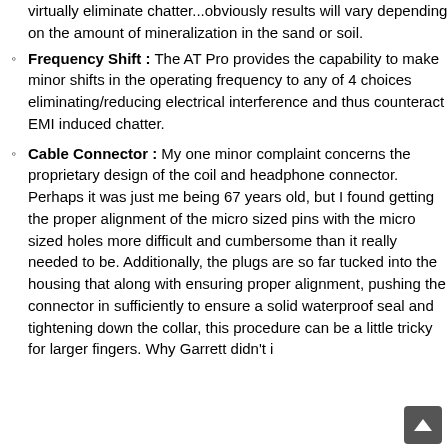virtually eliminate chatter...obviously results will vary depending on the amount of mineralization in the sand or soil.
Frequency Shift : The AT Pro provides the capability to make minor shifts in the operating frequency to any of 4 choices eliminating/reducing electrical interference and thus counteract EMI induced chatter.
Cable Connector : My one minor complaint concerns the proprietary design of the coil and headphone connector. Perhaps it was just me being 67 years old, but I found getting the proper alignment of the micro sized pins with the micro sized holes more difficult and cumbersome than it really needed to be. Additionally, the plugs are so far tucked into the housing that along with ensuring proper alignment, pushing the connector in sufficiently to ensure a solid waterproof seal and tightening down the collar, this procedure can be a little tricky for larger fingers. Why Garrett didn't i...